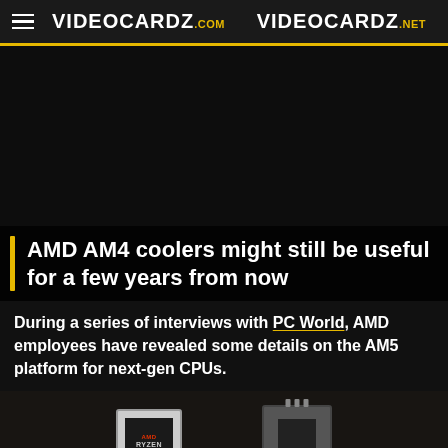VIDEOCARDZ.com   VIDEOCARDZ.net
[Figure (photo): Dark background image area, likely a photograph of AMD hardware, mostly obscured/dark]
AMD AM4 coolers might still be useful for a few years from now
During a series of interviews with PC World, AMD employees have revealed some details on the AM5 platform for next-gen CPUs.
[Figure (photo): Bottom strip showing two AMD CPU chips: left chip is an AMD Ryzen processor (AM4 socket), right chip appears to be an AM5 socket CPU with connectors on top]